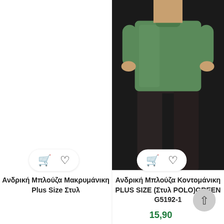[Figure (photo): Carousel view of two male clothing products. Left slot appears empty/white. Right slot shows a model wearing a green polo shirt and dark pants, photographed from below the chest, on a dark background. Navigation arrows visible on left and right edges.]
Ανδρική Μπλούζα Μακρυμάνικη Plus Size Στυλ
Ανδρική Μπλούζα Κοντομάνικη PLUS SIZE (Στυλ POLO)GREEN G5192-1
15,90
Χρησιμοποιούμε cookies για να σας προσφέρουμε την καλύτερη δυνατή εμπειρία στη σελίδα μας. Εάν συνεχίσετε να χρησιμοποιείτε τη σελίδα, θα υποθέσουμε πως είστε ικανοποιημένοι με αυτό.
Cookie settings
ACCEPT